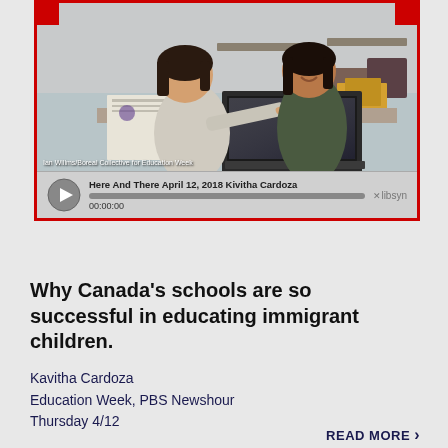[Figure (photo): Two young girls in a classroom, one pointing at a laptop screen. Photo credit: Ian Willms/Boreal Collective for Education Week]
Ian Willms/Boreal Collective for Education Week
Here And There April 12, 2018 Kivitha Cardoza
00:00:00
Why Canada's schools are so successful in educating immigrant children.
Kavitha Cardoza
Education Week, PBS Newshour
Thursday 4/12
READ MORE ›